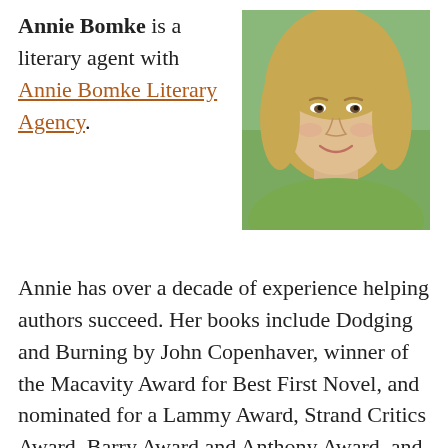Annie Bomke is a literary agent with Annie Bomke Literary Agency. Annie has over a decade of experience helping authors succeed. Her books include Dodging and Burning by John Copenhaver, winner of the Macavity Award for Best First Novel, and nominated for a Lammy Award, Strand Critics Award, Barry Award and Anthony Award, and the Barnes & Noble bestselling Poppy McAllister cozy mystery series by Libby Klein. She has edited a wide range of projects—from hard-nosed business books to otherworldly historical novels. Authors have called her the pH test for good
[Figure (photo): Headshot photo of Annie Bomke, a woman with shoulder-length blonde hair, smiling, wearing a green top, with green foliage in background.]